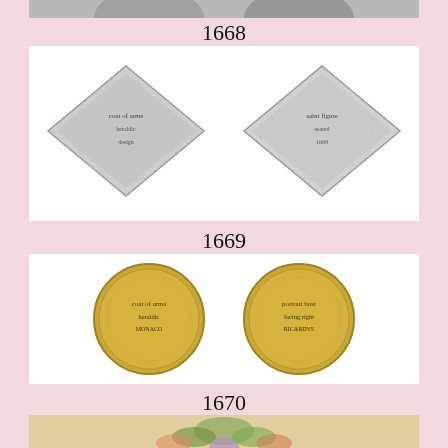[Figure (photo): Top stub of a coin image (partially visible at top of page)]
1668
[Figure (photo): Two diamond-shaped (klippe) silver coins side by side — obverse and reverse, lot 1668]
1669
[Figure (photo): Two round gold coins side by side — obverse and reverse, lot 1669]
1670
[Figure (photo): Partial view of a colorful illustrated item (floral/heraldic motif), lot 1670, cropped at bottom]